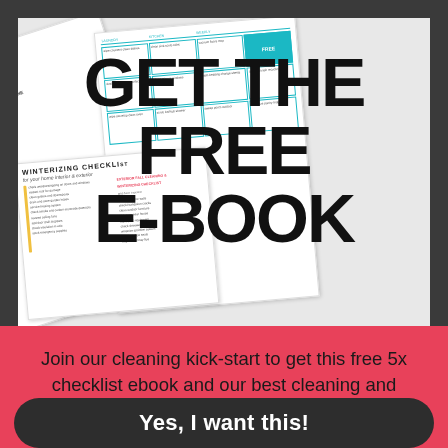[Figure (illustration): A fan of cleaning/winterizing checklist pages arranged behind bold overlay text reading GET THE FREE E-BOOK]
GET THE FREE E-BOOK
Join our cleaning kick-start to get this free 5x checklist ebook and our best cleaning and organizing tips
Yes, I want this!